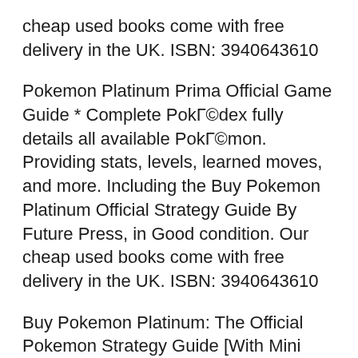cheap used books come with free delivery in the UK. ISBN: 3940643610
Pokemon Platinum Prima Official Game Guide * Complete PokГ©dex fully details all available PokГ©mon. Providing stats, levels, learned moves, and more. Including the Buy Pokemon Platinum Official Strategy Guide By Future Press, in Good condition. Our cheap used books come with free delivery in the UK. ISBN: 3940643610
Buy Pokemon Platinum: The Official Pokemon Strategy Guide [With Mini Poster] (Prima Official Game Guides) by Kristina Naudus, Anthony Zumpano (ISBN: 0050694327051. Buy Pokemon